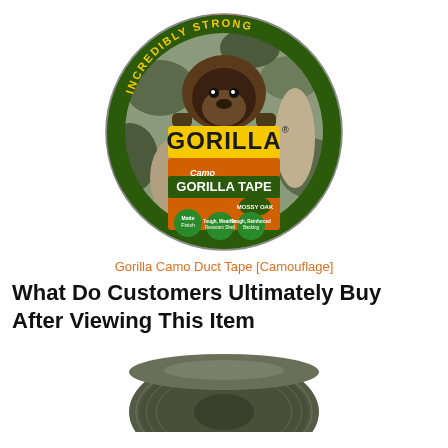[Figure (photo): Gorilla Camo Duct Tape product in camouflage Mossy Oak pattern, circular roll packaging with gorilla mascot logo, orange and green branding]
Gorilla Camo Duct Tape [Camouflage]
What Do Customers Ultimately Buy After Viewing This Item
[Figure (photo): Roll of dark olive/army green duct tape shown from the side, partially cut off at bottom of page]